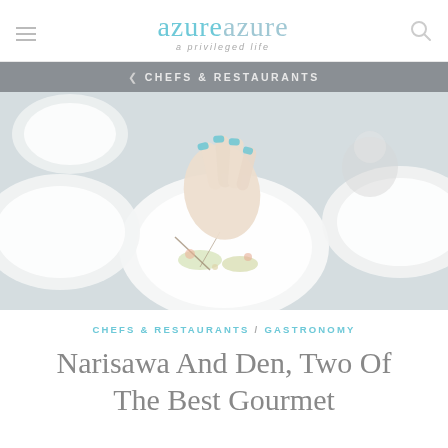azureazure — a privileged life
CHEFS & RESTAURANTS
[Figure (photo): Overhead view of white plates with artfully arranged food garnishes; a hand with teal-painted nails reaching down to plate a dish; another person visible in the background.]
CHEFS & RESTAURANTS / GASTRONOMY
Narisawa And Den, Two Of The Best Gourmet